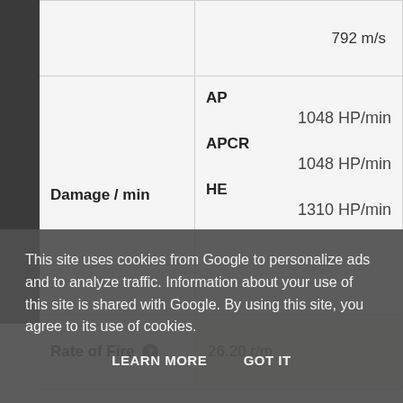|  |  |
| --- | --- |
|  | 792 m/s |
| Damage / min | AP
1048 HP/min
APCR
1048 HP/min
HE
1310 HP/min |
| Rate of Fire ? | 26.20 r/m |
This site uses cookies from Google to personalize ads and to analyze traffic. Information about your use of this site is shared with Google. By using this site, you agree to its use of cookies.
LEARN MORE   GOT IT